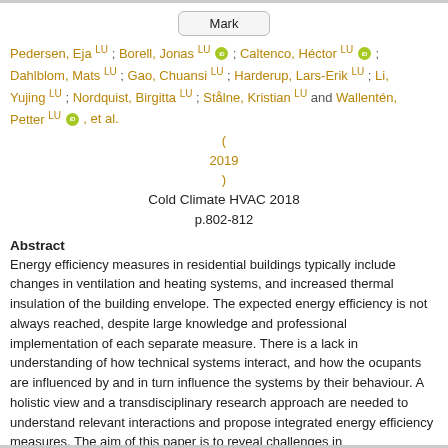Mark
Pedersen, Eja LU ; Borell, Jonas LU ; Caltenco, Héctor LU ; Dahlblom, Mats LU ; Gao, Chuansi LU ; Harderup, Lars-Erik LU ; Li, Yujing LU ; Nordquist, Birgitta LU ; Stålne, Kristian LU and Wallentén, Petter LU , et al.
( 2019 ) Cold Climate HVAC 2018 p.802-812
Abstract
Energy efficiency measures in residential buildings typically include changes in ventilation and heating systems, and increased thermal insulation of the building envelope. The expected energy efficiency is not always reached, despite large knowledge and professional implementation of each separate measure. There is a lack in understanding of how technical systems interact, and how the ocupants are influenced by and in turn influence the systems by their behaviour. A holistic view and a transdisciplinary research approach are needed to understand relevant interactions and propose integrated energy efficiency measures. The aim of this paper is to reveal challenges in transdisciplinary research projects that include real world studies on... (More)